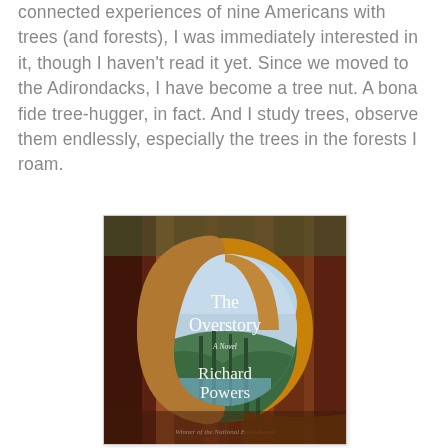connected experiences of nine Americans with trees (and forests), I was immediately interested in it, though I haven't read it yet. Since we moved to the Adirondacks, I have become a tree nut. A bona fide tree-hugger, in fact. And I study trees, observe them endlessly, especially the trees in the forests I roam.
[Figure (illustration): Book cover of 'The Overstory' by Richard Powers. Shows giant redwood trees with a circular framing device revealing a forest scene. White text reads 'The Overstory', 'A Novel', 'Richard Powers', and 'Winner of the National Book Award' at the bottom. Warm reddish-brown tones.]